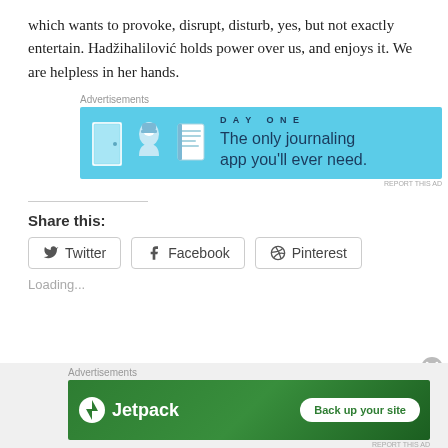which wants to provoke, disrupt, disturb, yes, but not exactly entertain. Hadžihalilović holds power over us, and enjoys it. We are helpless in her hands.
[Figure (screenshot): Advertisement banner for Day One journaling app with light blue background and icons]
Share this:
Twitter
Facebook
Pinterest
Loading...
[Figure (screenshot): Advertisement banner for Jetpack with green background and 'Back up your site' button]